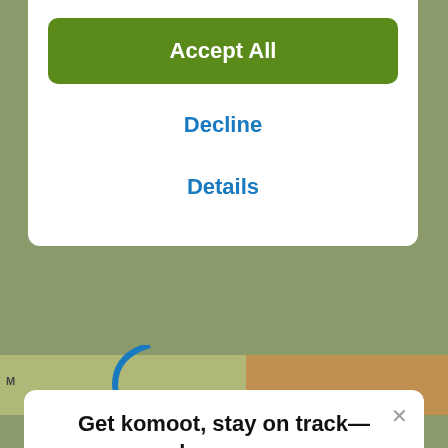Accept All
Decline
Details
Get komoot, stay on track—however wild you go
With turn-by-turn voice navigation and offline maps, the komoot app will always keep your adventure on track, even when the internet's down or unreliable.
[Figure (screenshot): Download on the App Store button]
Unterberg